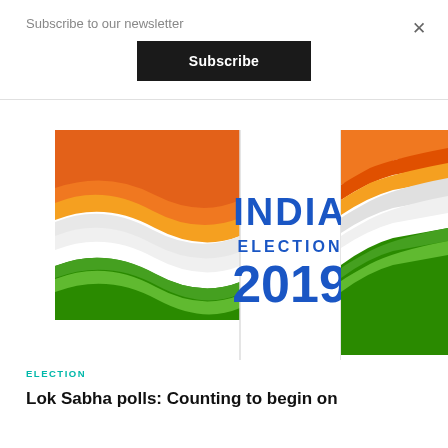Subscribe to our newsletter
Subscribe
[Figure (illustration): India Election 2019 graphic with Indian tricolor flag wave design and bold blue text reading 'INDIA ELECTION 2019']
ELECTION
Lok Sabha polls: Counting to begin on